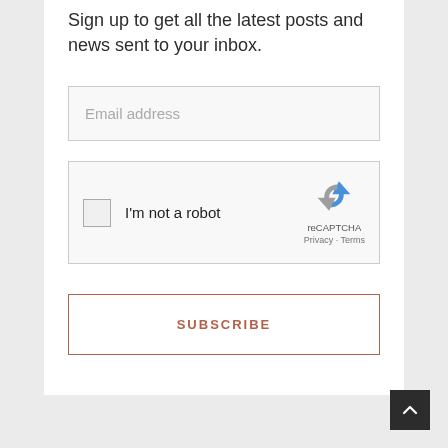Sign up to get all the latest posts and news sent to your inbox.
[Figure (screenshot): Email address input field with light gray border and placeholder text 'Email address']
[Figure (screenshot): reCAPTCHA widget showing checkbox with 'I'm not a robot' label and reCAPTCHA logo with Privacy · Terms text]
[Figure (screenshot): Subscribe button with terracotta/rust colored border and text 'SUBSCRIBE' in matching color on white background]
[Figure (screenshot): Back to top button — dark square with upward chevron arrow in bottom right corner]